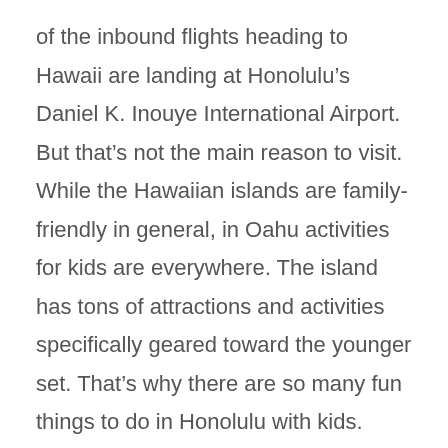of the inbound flights heading to Hawaii are landing at Honolulu's Daniel K. Inouye International Airport. But that's not the main reason to visit. While the Hawaiian islands are family-friendly in general, in Oahu activities for kids are everywhere. The island has tons of attractions and activities specifically geared toward the younger set. That's why there are so many fun things to do in Honolulu with kids.
There are also many resorts in Oahu that